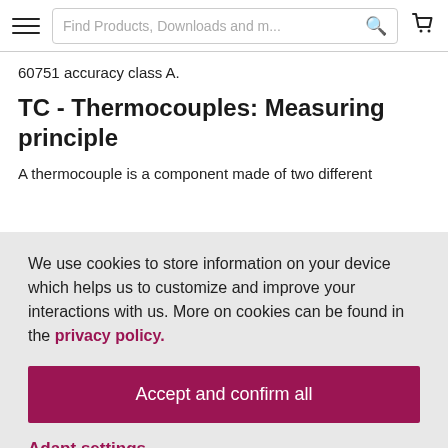Find Products, Downloads and m...
60751 accuracy class A.
TC - Thermocouples: Measuring principle
A thermocouple is a component made of two different
We use cookies to store information on your device which helps us to customize and improve your interactions with us. More on cookies can be found in the privacy policy.
Accept and confirm all
Adapt settings